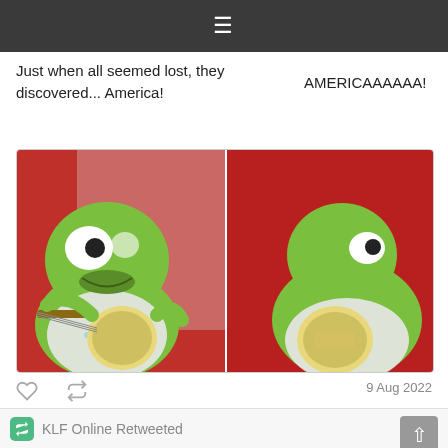≡ (navigation menu bar)
Just when all seemed lost, they discovered... America!

AMERICAAAAA!
[Figure (photo): Two side-by-side photos of Kermit the Frog puppet playing a banjo against a red background. Left photo shows Kermit's face clearly; right photo is a slightly different angle.]
9 Aug 2022
KLF Online Retweeted
Michael Pedersen
@ScribePedersen
Come 06/07 at @thesocial in London, the sublime artist BILL DRUMMOND will be unveiling new work in